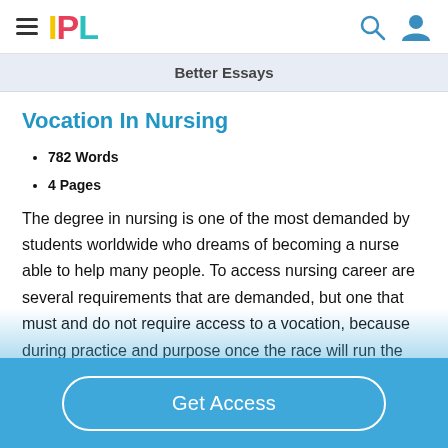IPL
Better Essays
Vocation In Nursing
782 Words
4 Pages
The degree in nursing is one of the most demanded by students worldwide who dreams of becoming a nurse able to help many people. To access nursing career are several requirements that are demanded, but one that must and do not require access to a vocation, because during practice and purpose once the race will run the lives of people who
Get Access